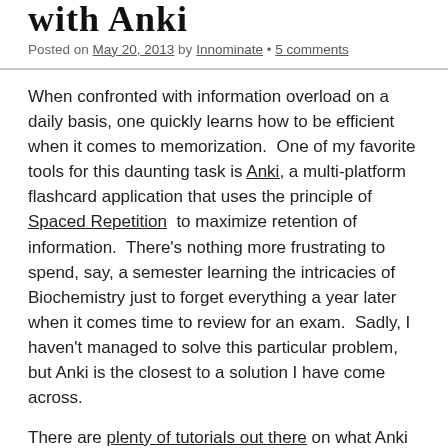with Anki
Posted on May 20, 2013 by Innominate • 5 comments
When confronted with information overload on a daily basis, one quickly learns how to be efficient when it comes to memorization.  One of my favorite tools for this daunting task is Anki, a multi-platform flashcard application that uses the principle of Spaced Repetition  to maximize retention of information.  There's nothing more frustrating to spend, say, a semester learning the intricacies of Biochemistry just to forget everything a year later when it comes time to review for an exam.  Sadly, I haven't managed to solve this particular problem, but Anki is the closest to a solution I have come across.
There are plenty of tutorials out there on what Anki is and how to use it, so what I'd like to focus on is my setup for reviewing cards.